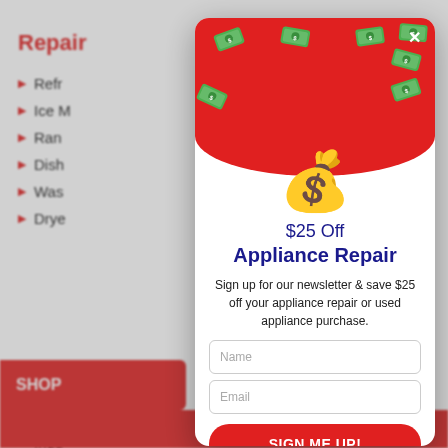Repair
Refr
Ice M
Ran
Dish
Was
Drye
Home
Indu
Loc
Holi
[Figure (illustration): Modal popup overlay with red circular top, falling money bill illustrations, gold money bag with dollar sign, promotion text, name and email input fields, and sign me up button]
$25 Off Appliance Repair
Sign up for our newsletter & save $25 off your appliance repair or used appliance purchase.
Name
Email
SIGN ME UP!